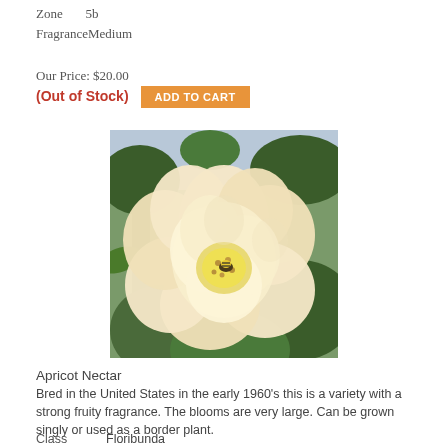Zone	5b
Fragrance	Medium
Our Price: $20.00
(Out of Stock)  ADD TO CART
[Figure (photo): Close-up photograph of a large pale apricot/cream rose bloom with yellow center and a bee visible, surrounded by green foliage in the background.]
Apricot Nectar
Bred in the United States in the early 1960's this is a variety with a strong fruity fragrance. The blooms are very large. Can be grown singly or used as a border plant.
Class	Floribunda
Color	Apricot Blend